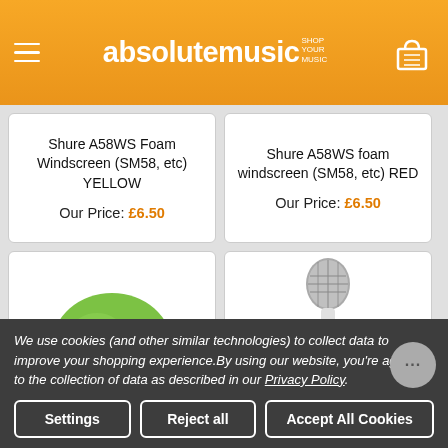absolutemusic
Shure A58WS Foam Windscreen (SM58, etc) YELLOW
Our Price: £6.50
Shure A58WS foam windscreen (SM58, etc) RED
Our Price: £6.50
[Figure (photo): Green foam windscreen ball]
[Figure (photo): White wireless microphone]
We use cookies (and other similar technologies) to collect data to improve your shopping experience.By using our website, you're agreeing to the collection of data as described in our Privacy Policy.
Settings | Reject all | Accept All Cookies